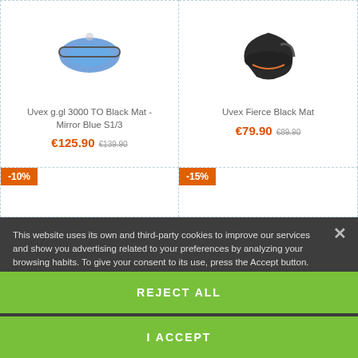[Figure (photo): Uvex g.gl 3000 TO Black Mat Mirror Blue S1/3 ski goggles product image (partial, top cut off)]
Uvex g.gl 3000 TO Black Mat - Mirror Blue S1/3
€125.90 €139.90
[Figure (photo): Uvex Fierce Black Mat helmet product image (partial, top cut off)]
Uvex Fierce Black Mat
€79.90 €89.90
-10%
-15%
This website uses its own and third-party cookies to improve our services and show you advertising related to your preferences by analyzing your browsing habits. To give your consent to its use, press the Accept button.
More information   Customize cookies
REJECT ALL
I ACCEPT